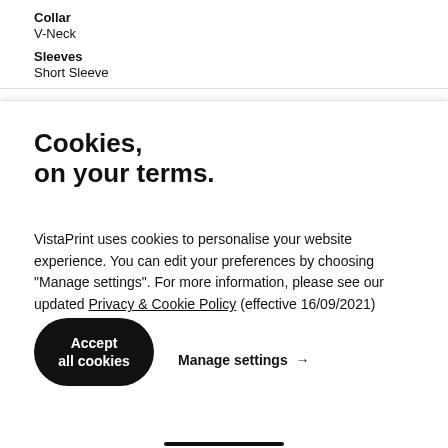Collar
V-Neck
Sleeves
Short Sleeve
Cookies, on your terms.
VistaPrint uses cookies to personalise your website experience. You can edit your preferences by choosing "Manage settings". For more information, please see our updated Privacy & Cookie Policy (effective 16/09/2021)
Accept all cookies
Manage settings →